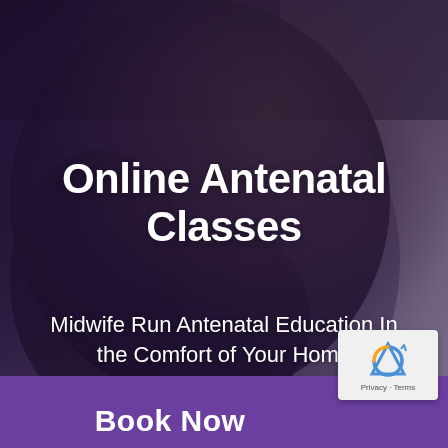[Figure (photo): Dark background photo of a pregnant woman in a black top holding her belly, with a purple-dark overlay tint covering most of the image]
Online Antenatal Classes
Midwife Run Antenatal Education In the Comfort of Your Home
Book Now